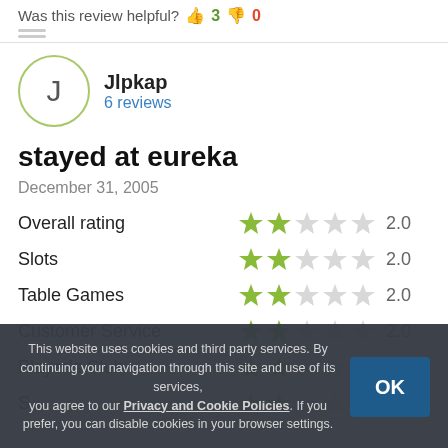Was this review helpful? 👍 3 👎 0
Jlpkap
6 reviews
stayed at eureka
December 31, 2005
| Category | Stars | Rating |
| --- | --- | --- |
| Overall rating | ★★☆☆☆ | 2.0 |
| Slots | ★★☆☆☆ | 2.0 |
| Table Games | ★★☆☆☆ | 2.0 |
| Customer Service | ★★☆☆☆ | 2.0 |
| Player's Club | ★★☆☆☆ | 2.0 |
This website uses cookies and third party services. By continuing your navigation through this site and use of its services, you agree to our Privacy and Cookie Policies. If you prefer, you can disable cookies in your browser settings.